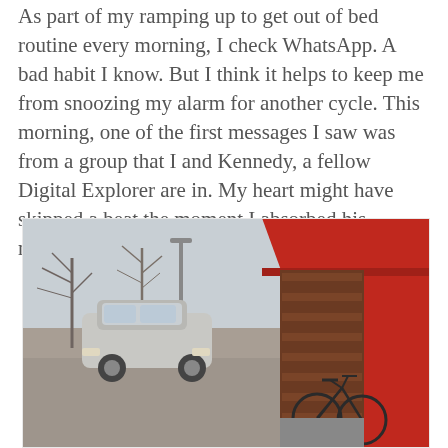As part of my ramping up to get out of bed routine every morning, I check WhatsApp. A bad habit I know. But I think it helps to keep me from snoozing my alarm for another cycle. This morning, one of the first messages I saw was from a group that I and Kennedy, a fellow Digital Explorer are in. My heart might have skipped a beat the moment I absorbed his message.
[Figure (photo): Outdoor scene showing a parking area on the left with a silver/grey car (Volkswagen) parked, bare winter trees, and a building with a distinctive red facade and horizontal wooden slatted wall/screen on the right side. A bicycle is leaning against the wooden slat structure beneath a red overhang/roof.]